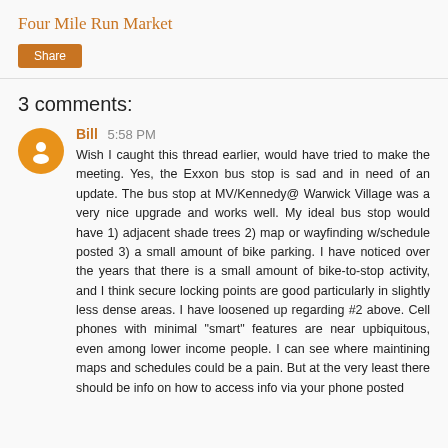Four Mile Run Market
Share
3 comments:
Bill 5:58 PM
Wish I caught this thread earlier, would have tried to make the meeting. Yes, the Exxon bus stop is sad and in need of an update. The bus stop at MV/Kennedy@ Warwick Village was a very nice upgrade and works well. My ideal bus stop would have 1) adjacent shade trees 2) map or wayfinding w/schedule posted 3) a small amount of bike parking. I have noticed over the years that there is a small amount of bike-to-stop activity, and I think secure locking points are good particularly in slightly less dense areas. I have loosened up regarding #2 above. Cell phones with minimal "smart" features are near upbiquitous, even among lower income people. I can see where maintining maps and schedules could be a pain. But at the very least there should be info on how to access info via your phone posted